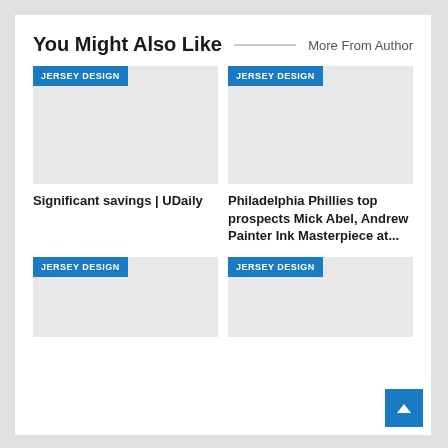You Might Also Like
More From Author
[Figure (other): Placeholder image with JERSEY DESIGN badge]
[Figure (other): Placeholder image with JERSEY DESIGN badge]
Significant savings | UDaily
Philadelphia Phillies top prospects Mick Abel, Andrew Painter Ink Masterpiece at...
[Figure (other): Placeholder image with JERSEY DESIGN badge]
[Figure (other): Placeholder image with JERSEY DESIGN badge]